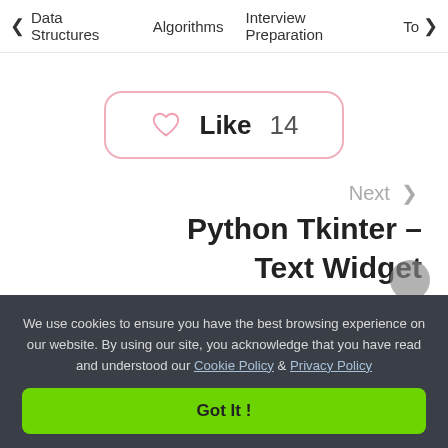< Data Structures   Algorithms   Interview Preparation   To>
[Figure (other): Like button with heart icon showing count 14, inside a rounded rectangle border]
Next >
Python Tkinter – Text Widget
We use cookies to ensure you have the best browsing experience on our website. By using our site, you acknowledge that you have read and understood our Cookie Policy & Privacy Policy
Got It !